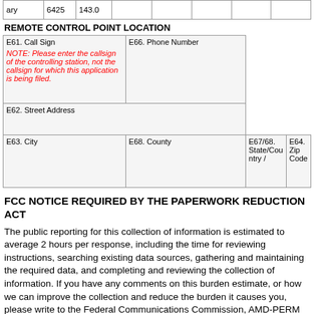| ary | 6425 | 143.0 |  |  |  |  |  |
REMOTE CONTROL POINT LOCATION
| E61. Call Sign

NOTE: Please enter the callsign of the controlling station, not the callsign for which this application is being filed. | E66. Phone Number |
| E62. Street Address |  |
| E63. City | E68. County | E67/68. State/Country / | E64. Zip Code |
FCC NOTICE REQUIRED BY THE PAPERWORK REDUCTION ACT
The public reporting for this collection of information is estimated to average 2 hours per response, including the time for reviewing instructions, searching existing data sources, gathering and maintaining the required data, and completing and reviewing the collection of information. If you have any comments on this burden estimate, or how we can improve the collection and reduce the burden it causes you, please write to the Federal Communications Commission, AMD-PERM